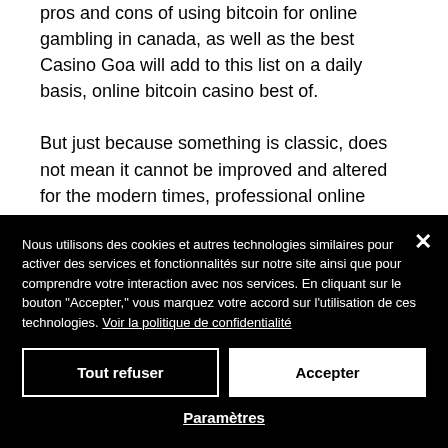pros and cons of using bitcoin for online gambling in canada, as well as the best Casino Goa will add to this list on a daily basis, online bitcoin casino best of. But just because something is classic, does not mean it cannot be improved and altered for the modern times, professional online blackjack player salary. For those wanting to combine the old and the new, we have such
Nous utilisons des cookies et autres technologies similaires pour activer des services et fonctionnalités sur notre site ainsi que pour comprendre votre interaction avec nos services. En cliquant sur le bouton "Accepter," vous marquez votre accord sur l'utilisation de ces technologies. Voir la politique de confidentialité
Tout refuser
Accepter
Paramètres